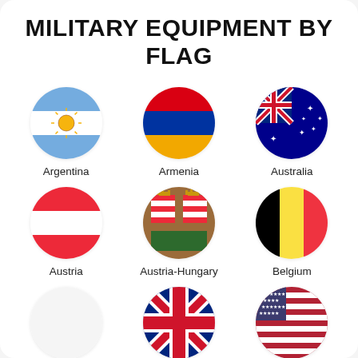MILITARY EQUIPMENT BY FLAG
[Figure (infographic): Grid of circular flag icons for countries: Argentina, Armenia, Australia, Austria, Austria-Hungary, Belgium, Brazil, Britain (UK), USA]
Argentina
Armenia
Australia
Austria
Austria-Hungary
Belgium
Brazil